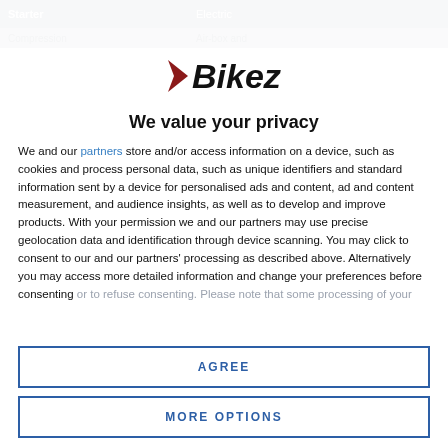| Starter | Electric |
| --- | --- |
| Compression | Air-box and |
[Figure (logo): Bikez logo with stylized arrow and bold text]
We value your privacy
We and our partners store and/or access information on a device, such as cookies and process personal data, such as unique identifiers and standard information sent by a device for personalised ads and content, ad and content measurement, and audience insights, as well as to develop and improve products. With your permission we and our partners may use precise geolocation data and identification through device scanning. You may click to consent to our and our partners' processing as described above. Alternatively you may access more detailed information and change your preferences before consenting or to refuse consenting. Please note that some processing of your
AGREE
MORE OPTIONS